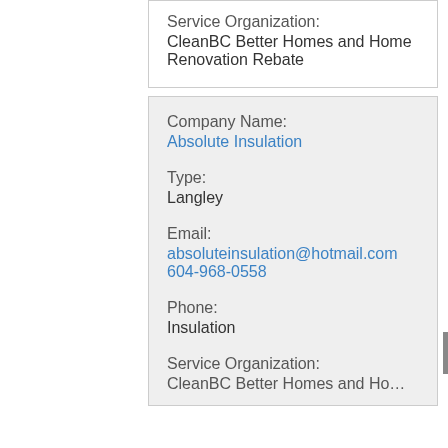Service Organization:
CleanBC Better Homes and Home Renovation Rebate
Company Name:
Absolute Insulation
Type:
Langley
Email:
absoluteinsulation@hotmail.com
604-968-0558
Phone:
Insulation
Service Organization:
CleanBC Better Homes and Ho...